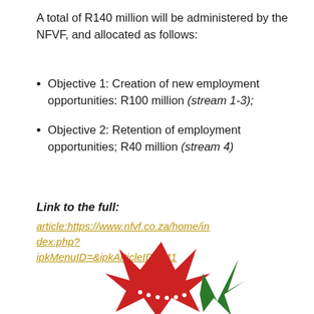A total of R140 million will be administered by the NFVF, and allocated as follows:
Objective 1: Creation of new employment opportunities: R100 million (stream 1-3);
Objective 2: Retention of employment opportunities; R40 million (stream 4)
Link to the full:
article:https://www.nfvf.co.za/home/index.php?ipkMenuID=&ipkArticleID=741
[Figure (logo): NFVF logo with red and green star/crown shapes at bottom of page]